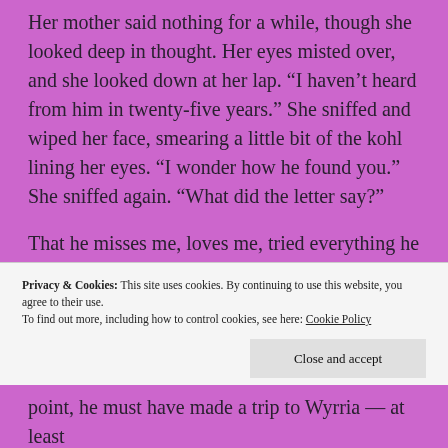Her mother said nothing for a while, though she looked deep in thought. Her eyes misted over, and she looked down at her lap. “I haven’t heard from him in twenty-five years.” She sniffed and wiped her face, smearing a little bit of the kohl lining her eyes. “I wonder how he found you.” She sniffed again. “What did the letter say?”
That he misses me, loves me, tried everything he could to find me…” Irena let her voice trail off and
Privacy & Cookies: This site uses cookies. By continuing to use this website, you agree to their use.
To find out more, including how to control cookies, see here: Cookie Policy
point, he must have made a trip to Wyrria — at least